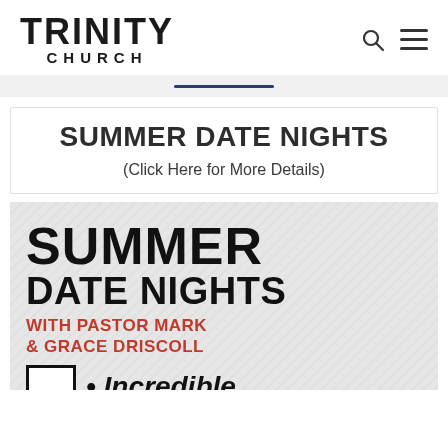[Figure (logo): Trinity Church logo — TRINITY in large bold black text, CHURCH in smaller bold spaced caps below]
SUMMER DATE NIGHTS
(Click Here for More Details)
[Figure (illustration): Promotional banner image on brick wall background reading SUMMER DATE NIGHTS WITH PASTOR MARK & GRACE DRISCOLL • Incredible]